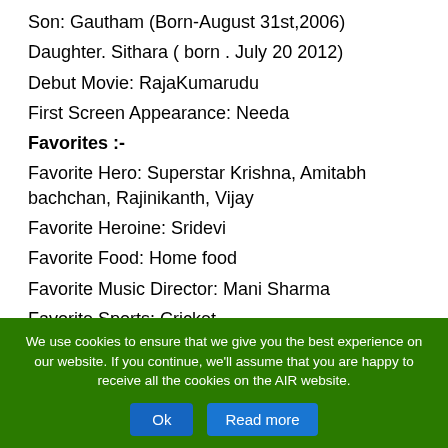Son: Gautham (Born-August 31st,2006)
Daughter. Sithara ( born . July 20 2012)
Debut Movie: RajaKumarudu
First Screen Appearance: Needa
Favorites :-
Favorite Hero: Superstar Krishna, Amitabh bachchan, Rajinikanth, Vijay
Favorite Heroine: Sridevi
Favorite Food: Home food
Favorite Music Director: Mani Sharma
Favorite Sports: Cricket
We use cookies to ensure that we give you the best experience on our website. If you continue, we'll assume that you are happy to receive all the cookies on the AIR website.